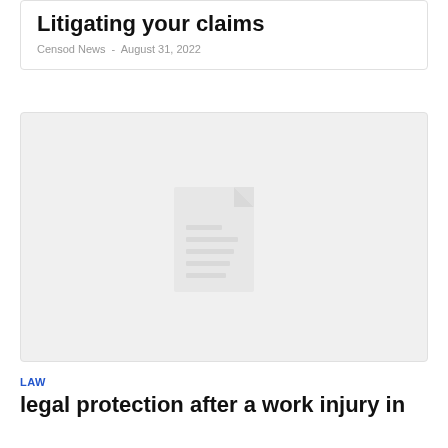Litigating your claims
Censod News  -  August 31, 2022
[Figure (illustration): Grey placeholder card with a document/file icon in the center, representing a missing or loading image.]
LAW
legal protection after a work injury in